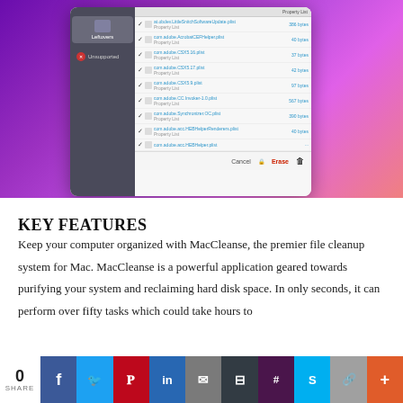[Figure (screenshot): MacCleanse application dialog showing a file cleanup interface with a list of .plist files from Adobe, with file names, types (Property List), and sizes in bytes. The dialog has Leftovers and Unsupported sidebar items, and Cancel and Erase buttons at the bottom. Background is a macOS-style purple gradient desktop.]
KEY FEATURES
Keep your computer organized with MacCleanse, the premier file cleanup system for Mac. MacCleanse is a powerful application geared towards purifying your system and reclaiming hard disk space. In only seconds, it can perform over fifty tasks which could take hours to
[Figure (infographic): Social media share bar with count of 0 shares, and buttons for Facebook, Twitter, Pinterest, LinkedIn, Email, Buffer, Slack, Skype, Chain/Copy, and Plus/More]